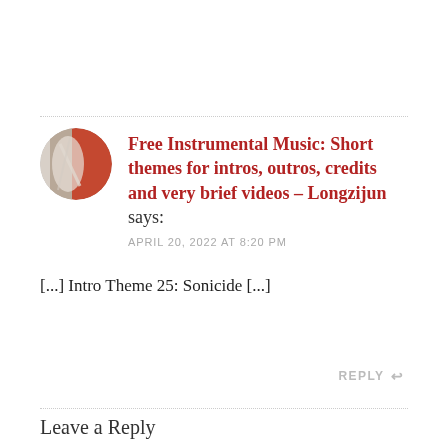Free Instrumental Music: Short themes for intros, outros, credits and very brief videos – Longzijun says:
APRIL 20, 2022 AT 8:20 PM
[...] Intro Theme 25: Sonicide [...]
REPLY
Leave a Reply